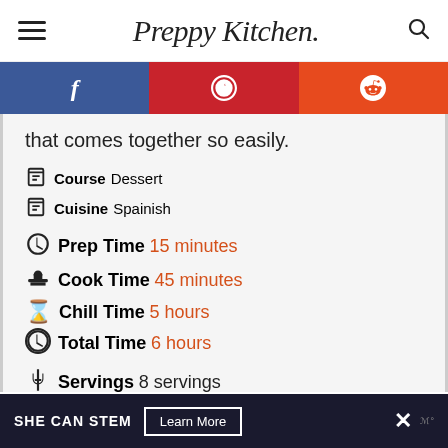Preppy Kitchen
[Figure (infographic): Social sharing bar with Facebook, Pinterest, and Reddit buttons]
that comes together so easily.
Course  Dessert
Cuisine  Spainish
Prep Time  15 minutes
Cook Time  45 minutes
Chill Time  5 hours
Total Time  6 hours
Servings  8 servings
SHE CAN STEM  Learn More